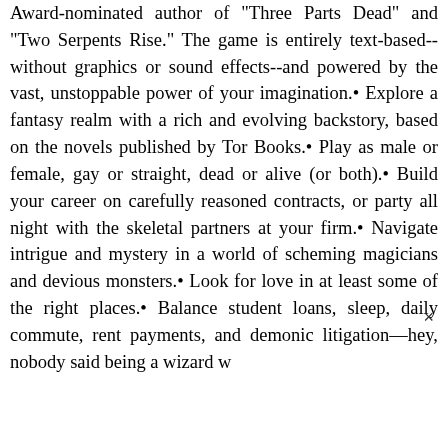Award-nominated author of "Three Parts Dead" and "Two Serpents Rise." The game is entirely text-based--without graphics or sound effects--and powered by the vast, unstoppable power of your imagination.• Explore a fantasy realm with a rich and evolving backstory, based on the novels published by Tor Books.• Play as male or female, gay or straight, dead or alive (or both).• Build your career on carefully reasoned contracts, or party all night with the skeletal partners at your firm.• Navigate intrigue and mystery in a world of scheming magicians and devious monsters.• Look for love in at least some of the right places.• Balance student loans, sleep, daily commute, rent payments, and demonic litigation—hey, nobody said being a wizard w